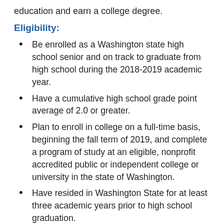education and earn a college degree.
Eligibility:
Be enrolled as a Washington state high school senior and on track to graduate from high school during the 2018-2019 academic year.
Have a cumulative high school grade point average of 2.0 or greater.
Plan to enroll in college on a full-time basis, beginning the fall term of 2019, and complete a program of study at an eligible, nonprofit accredited public or independent college or university in the state of Washington.
Have resided in Washington State for at least three academic years prior to high school graduation.
Complete and submit the Free Application for Federal Student Aid (FAFSA) or Washington